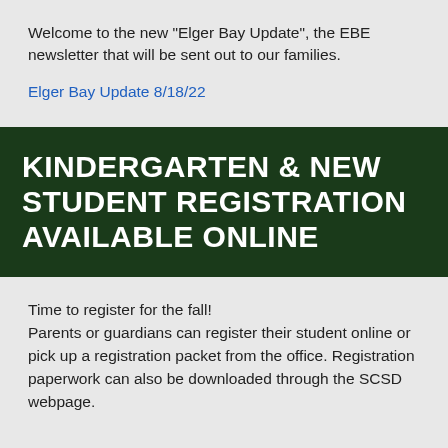Welcome to the new "Elger Bay Update", the EBE newsletter that will be sent out to our families.
Elger Bay Update  8/18/22
[Figure (other): Dark green banner with white bold uppercase text reading: KINDERGARTEN & NEW STUDENT REGISTRATION AVAILABLE ONLINE]
Time to register for the fall!
Parents or guardians can register their student online or pick up a registration packet from the office. Registration paperwork can also be downloaded through the SCSD webpage.